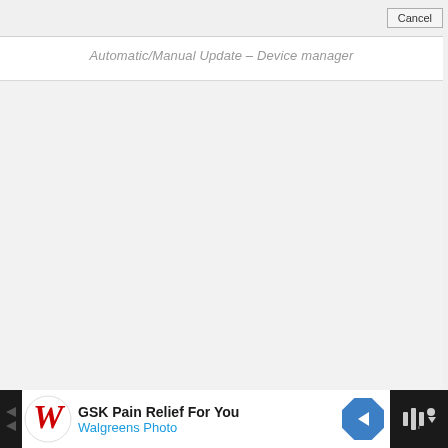[Figure (screenshot): Toolbar strip with a Cancel button on the right side, light gray background]
Automatic/Manual Update – Device manager
[Figure (screenshot): Large empty light gray content area of a dialog window]
[Figure (screenshot): Advertisement banner: Walgreens logo with cursive W, text 'GSK Pain Relief For You' in bold black and 'Walgreens Photo' in blue, blue navigation arrow icon, and a dark block with audio wave icon on black background]